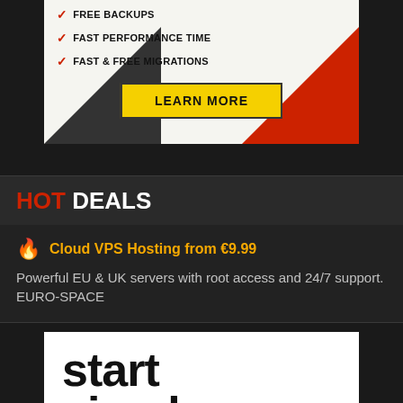[Figure (infographic): Ad banner with checkmarks for 'FREE BACKUPS' (partially visible), 'FAST PERFORMANCE TIME', 'FAST & FREE MIGRATIONS', and a yellow 'LEARN MORE' button. Red and dark diagonal geometric shapes in the background.]
HOT DEALS
Cloud VPS Hosting from €9.99
Powerful EU & UK servers with root access and 24/7 support. EURO-SPACE
[Figure (infographic): Bottom ad banner with white background showing large bold text 'start simple' partially visible.]